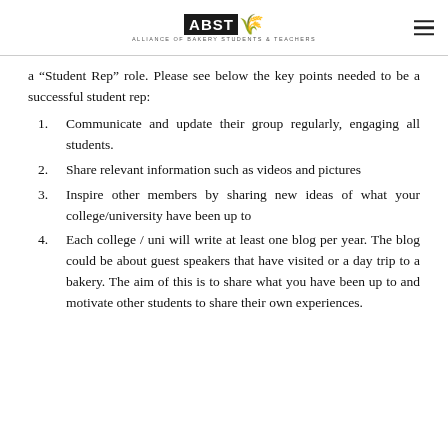ABST logo header
a "Student Rep" role. Please see below the key points needed to be a successful student rep:
Communicate and update their group regularly, engaging all students.
Share relevant information such as videos and pictures
Inspire other members by sharing new ideas of what your college/university have been up to
Each college / uni will write at least one blog per year. The blog could be about guest speakers that have visited or a day trip to a bakery. The aim of this is to share what you have been up to and motivate other students to share their own experiences.